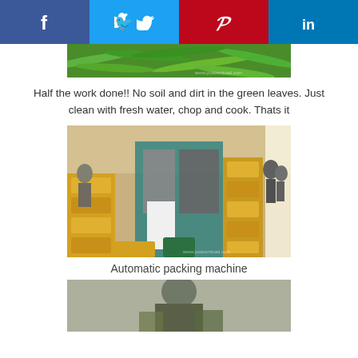[Figure (photo): Social media share buttons bar: Facebook (blue), Twitter (light blue), Pinterest (red), LinkedIn (dark blue)]
[Figure (photo): Close-up photo of fresh green beans/leaves with no soil, clean and bright green]
Half the work done!! No soil and dirt in the green leaves. Just clean with fresh water, chop and cook. Thats it
[Figure (photo): Automatic packing machine in a warehouse/factory setting with yellow crates and workers in background]
Automatic packing machine
[Figure (photo): Person partially visible at the bottom of the page, green background]